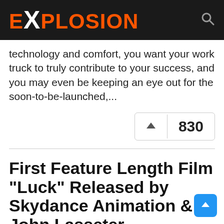eXplosion
technology and comfort, you want your work truck to truly contribute to your success, and you may even be keeping an eye out for the soon-to-be-launched,...
[Figure (other): Upvote button with count showing 830]
First Feature Length Film “Luck” Released by Skydance Animation & John Lasseter
“Luck” is the first feature-length film produc...